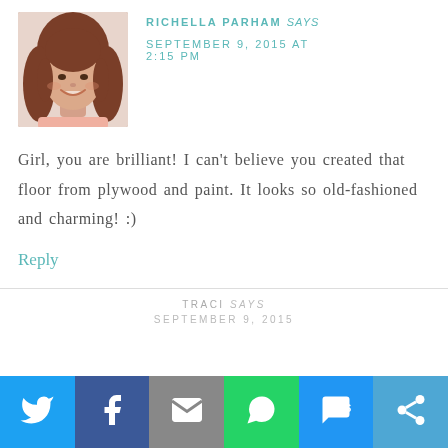[Figure (photo): Headshot of Richella Parham, a woman with shoulder-length brown hair, smiling, wearing a light pink top.]
RICHELLA PARHAM says
SEPTEMBER 9, 2015 AT 2:15 PM
Girl, you are brilliant! I can't believe you created that floor from plywood and paint. It looks so old-fashioned and charming! :)
Reply
TRACI says
SEPTEMBER 9, 2015